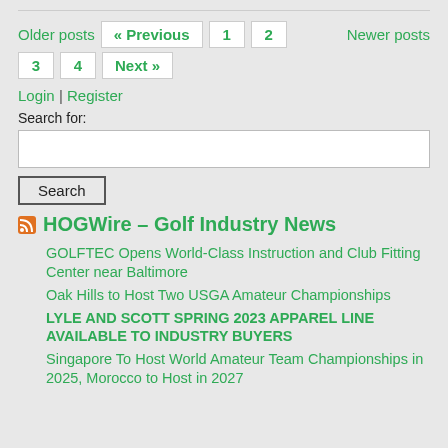Older posts « Previous 1 2 Newer posts 3 4 Next »
Login | Register
Search for:
Search
HOGWire – Golf Industry News
GOLFTEC Opens World-Class Instruction and Club Fitting Center near Baltimore
Oak Hills to Host Two USGA Amateur Championships
LYLE AND SCOTT SPRING 2023 APPAREL LINE AVAILABLE TO INDUSTRY BUYERS
Singapore To Host World Amateur Team Championships in 2025, Morocco to Host in 2027